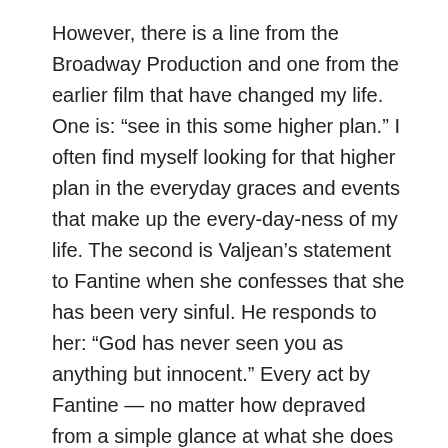However, there is a line from the Broadway Production and one from the earlier film that have changed my life. One is: “see in this some higher plan.” I often find myself looking for that higher plan in the everyday graces and events that make up the every-day-ness of my life. The second is Valjean’s statement to Fantine when she confesses that she has been very sinful. He responds to her: “God has never seen you as anything but innocent.” Every act by Fantine — no matter how depraved from a simple glance at what she does — is redeemed by the fact that she does it out of love for Cosette. In the end, what redeems our sins and downright rottenness is the transformation that occurs when we learn